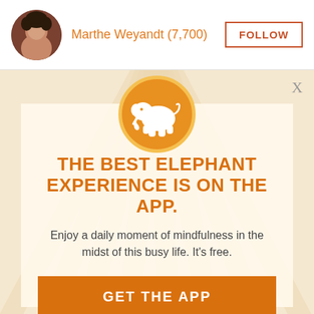Marthe Weyandt (7,700) | FOLLOW
[Figure (illustration): Orange circle with white elephant silhouette logo, radiating sunburst background]
THE BEST ELEPHANT EXPERIENCE IS ON THE APP.
Enjoy a daily moment of mindfulness in the midst of this busy life. It's free.
GET THE APP
OPEN IN APP